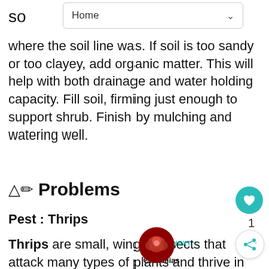Home
where the soil line was. If soil is too sandy or too clayey, add organic matter. This will help with both drainage and water holding capacity. Fill soil, firming just enough to support shrub. Finish by mulching and watering well.
⚠ Problems
Pest : Thrips
Thrips are small, winged insects that attack many types of plants and thrive in hot conditions (like heated houses). They can multiply quickly as a female can lay up to 300